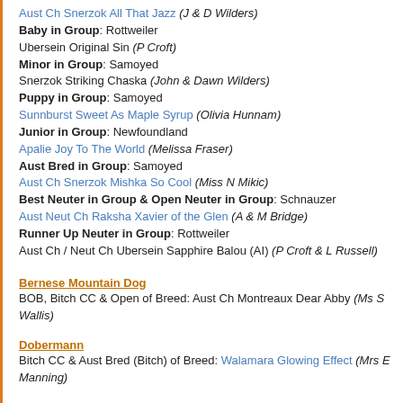Aust Ch Snerzok All That Jazz (J & D Wilders)
Baby in Group: Rottweiler
Ubersein Original Sin (P Croft)
Minor in Group: Samoyed
Snerzok Striking Chaska (John & Dawn Wilders)
Puppy in Group: Samoyed
Sunnburst Sweet As Maple Syrup (Olivia Hunnam)
Junior in Group: Newfoundland
Apalie Joy To The World (Melissa Fraser)
Aust Bred in Group: Samoyed
Aust Ch Snerzok Mishka So Cool (Miss N Mikic)
Best Neuter in Group & Open Neuter in Group: Schnauzer
Aust Neut Ch Raksha Xavier of the Glen (A & M Bridge)
Runner Up Neuter in Group: Rottweiler
Aust Ch / Neut Ch Ubersein Sapphire Balou (AI) (P Croft & L Russell)
Bernese Mountain Dog
BOB, Bitch CC & Open of Breed: Aust Ch Montreaux Dear Abby (Ms S Wallis)
Dobermann
Bitch CC & Aust Bred (Bitch) of Breed: Walamara Glowing Effect (Mrs E Manning)
Newfoundland